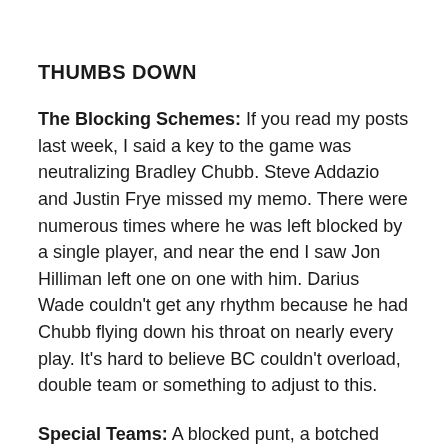THUMBS DOWN
The Blocking Schemes: If you read my posts last week, I said a key to the game was neutralizing Bradley Chubb. Steve Addazio and Justin Frye missed my memo. There were numerous times where he was left blocked by a single player, and near the end I saw Jon Hilliman left one on one with him. Darius Wade couldn’t get any rhythm because he had Chubb flying down his throat on nearly every play. It’s hard to believe BC couldn’t overload, double team or something to adjust to this.
Special Teams: A blocked punt, a botched field goal. With the offense sputtering, this was the last thing they